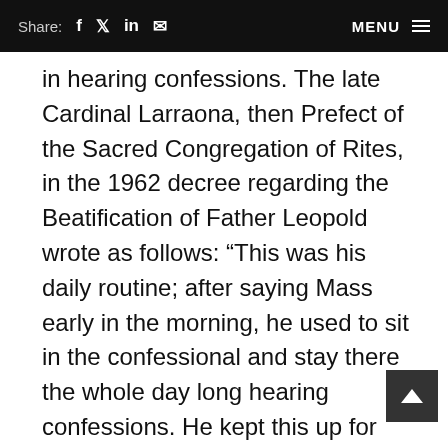Share: f  y  in  [mail]  MENU
in hearing confessions. The late Cardinal Larraona, then Prefect of the Sacred Congregation of Rites, in the 1962 decree regarding the Beatification of Father Leopold wrote as follows: “This was his daily routine; after saying Mass early in the morning, he used to sit in the confessional and stay there the whole day long hearing confessions. He kept this up for about forty years without any complaint.” This is, we believe, the primary reason that has